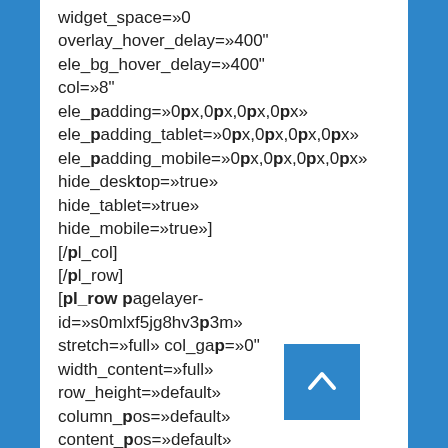widget_space=»0
overlay_hover_delay=»400"
ele_bg_hover_delay=»400"
col=»8"
ele_padding=»0px,0px,0px,0px»
ele_padding_tablet=»0px,0px,0px,0px»
ele_padding_mobile=»0px,0px,0px,0px»
hide_desktop=»true»
hide_tablet=»true»
hide_mobile=»true»]
[/pl_col]
[/pl_row]
[pl_row pagelayer-id=»s0mlxf5jg8hv3p3m» stretch=»full» col_gap=»0" width_content=»full» row_height=»default» column_pos=»default» content_pos=»default»